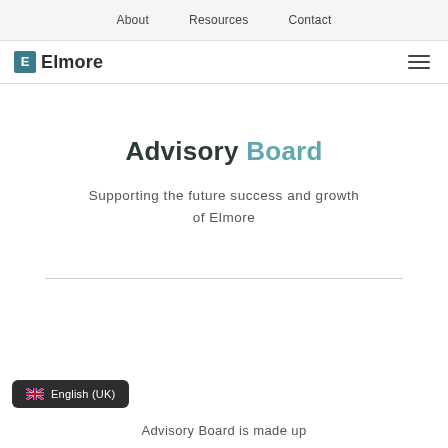About    Resources    Contact
[Figure (logo): Elmore logo with teal 'E' icon and text 'Elmore']
Advisory Board
Supporting the future success and growth of Elmore
English (UK)
Advisory Board is made up